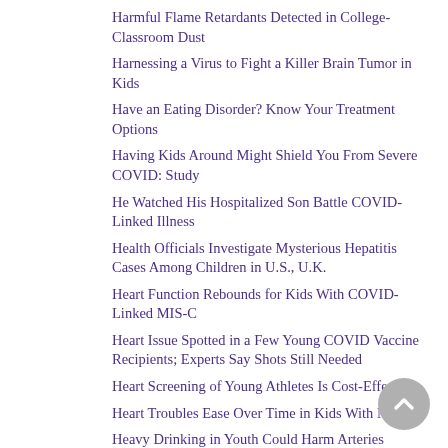Harmful Flame Retardants Detected in College-Classroom Dust
Harnessing a Virus to Fight a Killer Brain Tumor in Kids
Have an Eating Disorder? Know Your Treatment Options
Having Kids Around Might Shield You From Severe COVID: Study
He Watched His Hospitalized Son Battle COVID-Linked Illness
Health Officials Investigate Mysterious Hepatitis Cases Among Children in U.S., U.K.
Heart Function Rebounds for Kids With COVID-Linked MIS-C
Heart Issue Spotted in a Few Young COVID Vaccine Recipients; Experts Say Shots Still Needed
Heart Screening of Young Athletes Is Cost-Effective
Heart Troubles Ease Over Time in Kids With MIS-C
Heavy Drinking in Youth Could Harm Arteries